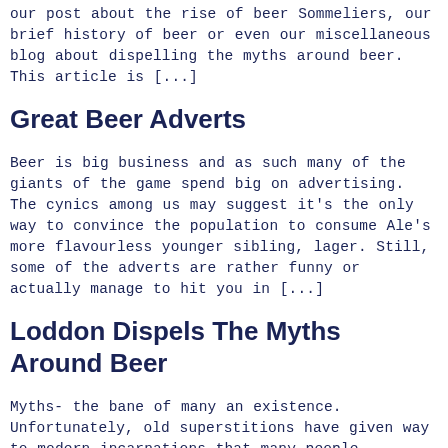our post about the rise of beer Sommeliers, our brief history of beer or even our miscellaneous blog about dispelling the myths around beer. This article is [...]
Great Beer Adverts
Beer is big business and as such many of the giants of the game spend big on advertising. The cynics among us may suggest it's the only way to convince the population to consume Ale's more flavourless younger sibling, lager. Still, some of the adverts are rather funny or actually manage to hit you in [...]
Loddon Dispels The Myths Around Beer
Myths- the bane of many an existence. Unfortunately, old superstitions have given way to modern incarnations that many people believe, take the five second rule as an example, the 'fact' that lightning